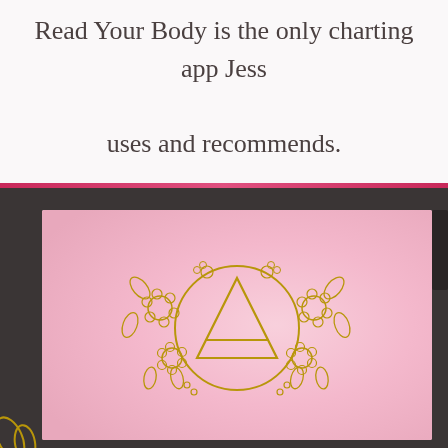Read Your Body is the only charting app Jess uses and recommends.
[Figure (logo): Pink watercolor background with a gold floral wreath logo containing a triangle/alchemical symbol inside a circle, with flowers and leaves decoration around it. This appears to be the Read Your Body app logo.]